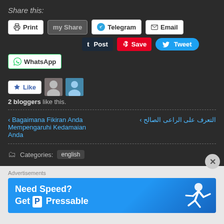Share this:
Print | (My Share) | Telegram | Email | Post | Save | Tweet | WhatsApp
[Figure (screenshot): Social sharing buttons: Print, My Share, Telegram, Email, Post (Tumblr), Save (Pinterest), Tweet (Twitter), WhatsApp]
Like
2 bloggers like this.
‹ Bagaimana Fikiran Anda Mempengaruhi Kedamaian Anda    التعرف على الراعى الصالح ›
Categories: english
Advertisements
Need Speed? Get Pressable